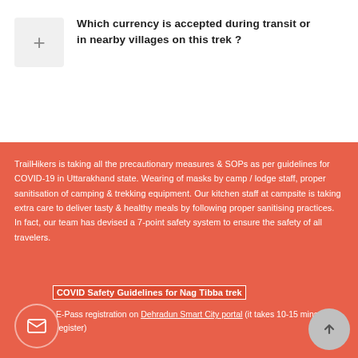Which currency is accepted during transit or in nearby villages on this trek ?
TrailHikers is taking all the precautionary measures & SOPs as per guidelines for COVID-19 in Uttarakhand state. Wearing of masks by camp / lodge staff, proper sanitisation of camping & trekking equipment. Our kitchen staff at campsite is taking extra care to deliver tasty & healthy meals by following proper sanitising practices. In fact, our team has devised a 7-point safety system to ensure the safety of all travelers.
COVID Safety Guidelines for Nag Tibba trek
E-Pass registration on Dehradun Smart City portal (it takes 10-15 mins to register)